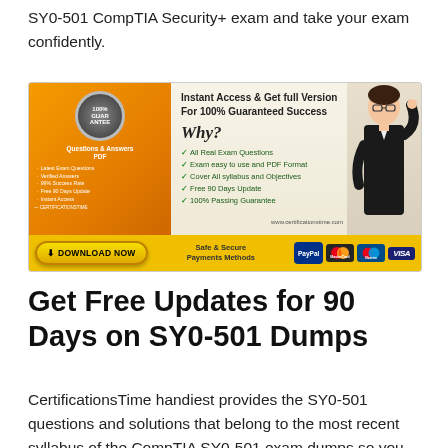SY0-501 CompTIA Security+ exam and take your exam confidently.
[Figure (infographic): Advertisement banner for CertificationsTime exam dumps. Left section shows an orange book/PDF product with badge, bullet points listing Latest Exam Questions, Verified Answers, 99% Success Rate, Free 90 Days Update, Instant Access. Center shows headline 'Instant Access & Get full Version For 100% Guaranteed Success', 'Why?' in italic, and checkmarks: All Real Exam Questions, Exam easy to use and PDF Format, Cover All syllabus and Objectives, Free 90 Days Update, 100% Passing Guarantee. Right shows a man in black suit pointing. Bottom bar: DOWNLOAD NOW button, Safe & Secure Payments Methods, PayPal, MasterCard, Maestro, VISA logos.]
Get Free Updates for 90 Days on SY0-501 Dumps
CertificationsTime handiest provides the SY0-501 questions and solutions that belong to the most recent syllabus of the CompTIA SY0-501 exam dumps so you do now no longer